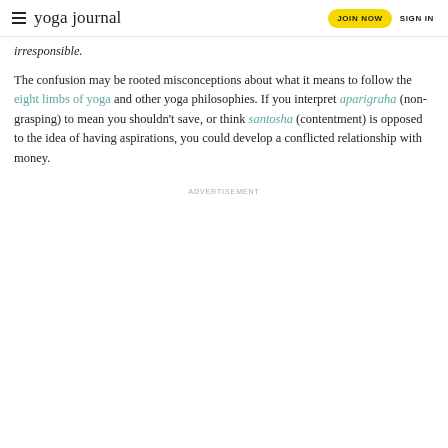yoga journal | JOIN NOW | SIGN IN
irresponsible.
The confusion may be rooted misconceptions about what it means to follow the eight limbs of yoga and other yoga philosophies. If you interpret aparigraha (non-grasping) to mean you shouldn't save, or think santosha (contentment) is opposed to the idea of having aspirations, you could develop a conflicted relationship with money.
ADVERTISEMENT